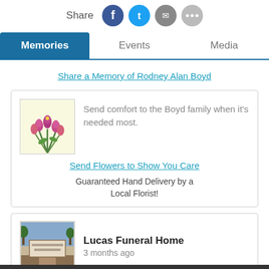[Figure (screenshot): Share icons row: Share label followed by Facebook (blue), Twitter (cyan), Email (grey), More (grey) circular icon buttons]
[Figure (screenshot): Tab navigation bar with three tabs: Memories (active, dark blue background), Events, Media]
Share a Memory of Rodney Alan Boyd
[Figure (photo): Flower bouquet image with pink/purple tulips on light yellow background inside a bordered square]
Send comfort to the Boyd family when it's needed most.
Send Flowers to Show You Care
Guaranteed Hand Delivery by a Local Florist!
[Figure (photo): Lucas Funeral Home exterior sign photo]
Lucas Funeral Home
3 months ago
Created a Video in memory of Rodney Alan Boyd